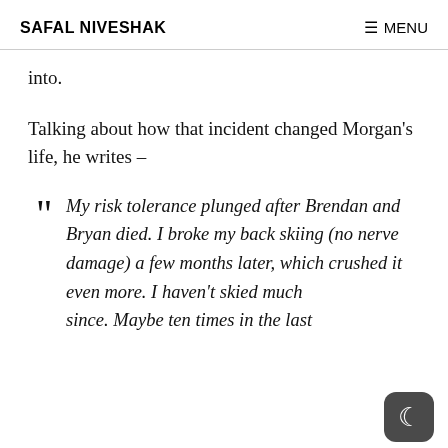SAFAL NIVESHAK    ☰ MENU
into.
Talking about how that incident changed Morgan's life, he writes –
" My risk tolerance plunged after Brendan and Bryan died. I broke my back skiing (no nerve damage) a few months later, which crushed it even more. I haven't skied much since. Maybe ten times in the last